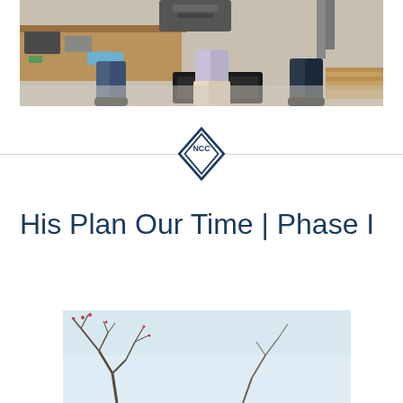[Figure (photo): Workshop/garage scene with people standing around a workbench with mechanical parts, pipes, and tools. Three people visible from waist down.]
[Figure (logo): NCC diamond-shaped logo in dark blue with letters NCC inside a diamond outline]
His Plan Our Time | Phase I
[Figure (photo): Winter outdoor scene with bare tree branches against a light blue sky]